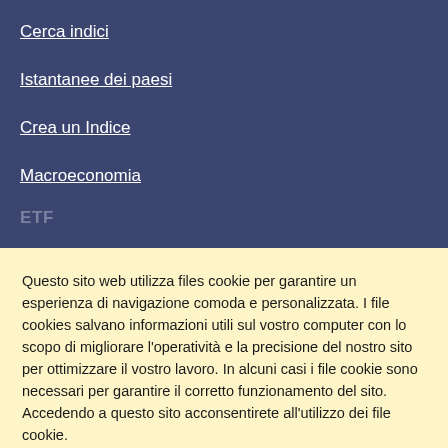Cerca indici
Istantanee dei paesi
Crea un Indice
Macroeconomia
ETF
Questo sito web utilizza files cookie per garantire un esperienza di navigazione comoda e personalizzata. I file cookies salvano informazioni utili sul vostro computer con lo scopo di migliorare l'operatività e la precisione del nostro sito per ottimizzare il vostro lavoro. In alcuni casi i file cookie sono necessari per garantire il corretto funzionamento del sito. Accedendo a questo sito acconsentirete all'utilizzo dei file cookie.
Ok